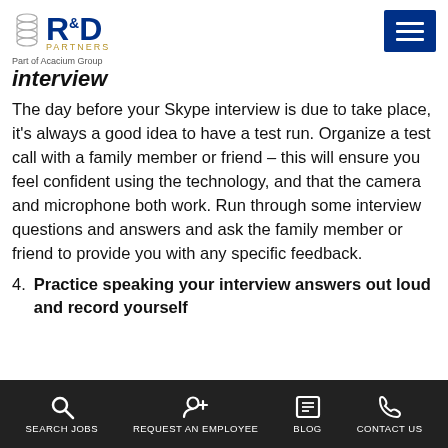[Figure (logo): R&D Partners logo with helix graphic, blue R&D lettering, gold PARTNERS text, and menu hamburger icon]
Part of Acacium Group
interview
The day before your Skype interview is due to take place, it's always a good idea to have a test run. Organize a test call with a family member or friend – this will ensure you feel confident using the technology, and that the camera and microphone both work. Run through some interview questions and answers and ask the family member or friend to provide you with any specific feedback.
4. Practice speaking your interview answers out loud and record yourself
SEARCH JOBS | REQUEST AN EMPLOYEE | BLOG | CONTACT US